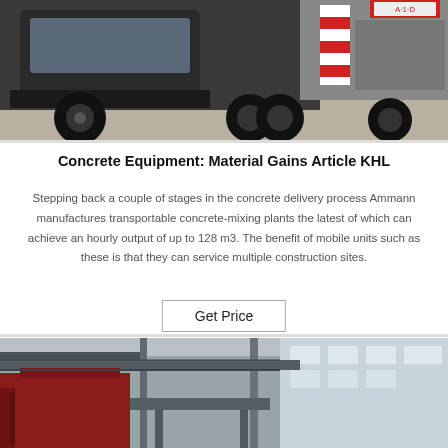[Figure (photo): Front view of a heavy-duty concrete mixing truck on a concrete surface, with a red and white hook-lift mechanism visible on the back.]
Concrete Equipment: Material Gains Article KHL
Stepping back a couple of stages in the concrete delivery process Ammann manufactures transportable concrete-mixing plants the latest of which can achieve an hourly output of up to 128 m3. The benefit of mobile units such as these is that they can service multiple construction sites.
Get Price
[Figure (photo): Interior of an industrial factory or warehouse with overhead cranes, steel structural columns, and a large red machine or equipment visible.]